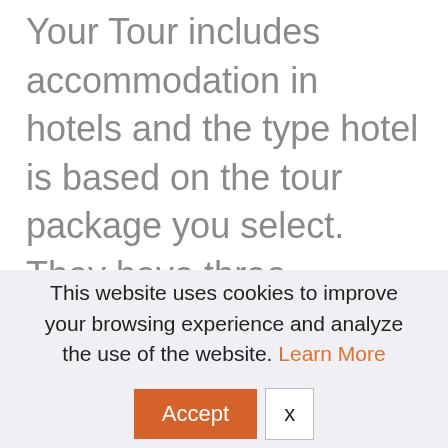Your Tour includes accommodation in hotels and the type hotel is based on the tour package you select. They have three different packages Economy, Deluxe and Luxury. Tours are for single traveller, couples and groups of people. Single traveller can have single occupancy hotel room or can share the room with co-traveller depending on the package selected. Each package
This website uses cookies to improve your browsing experience and analyze the use of the website. Learn More